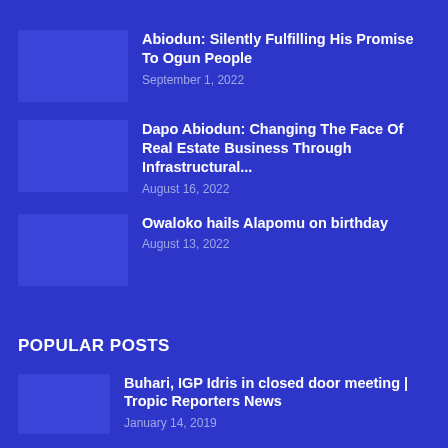Abiodun: Silently Fulfilling His Promise To Ogun People
September 1, 2022
Dapo Abiodun: Changing The Face Of Real Estate Business Through Infrastructural...
August 16, 2022
Owaloko hails Alapomu on birthday
August 13, 2022
POPULAR POSTS
Buhari, IGP Idris in closed door meeting | Tropic Reporters News
January 14, 2019